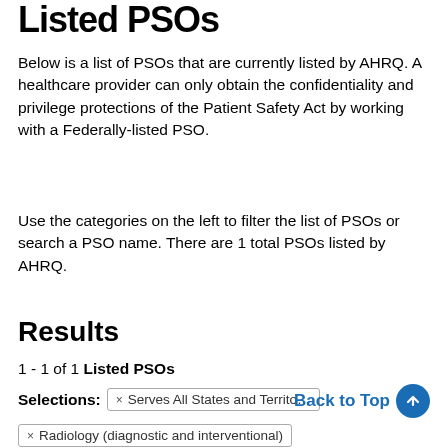Listed PSOs
Below is a list of PSOs that are currently listed by AHRQ. A healthcare provider can only obtain the confidentiality and privilege protections of the Patient Safety Act by working with a Federally-listed PSO.
Use the categories on the left to filter the list of PSOs or search a PSO name. There are 1 total PSOs listed by AHRQ.
Results
1 - 1 of 1 Listed PSOs
Selections: × Serves All States and Territories
× Radiology (diagnostic and interventional)